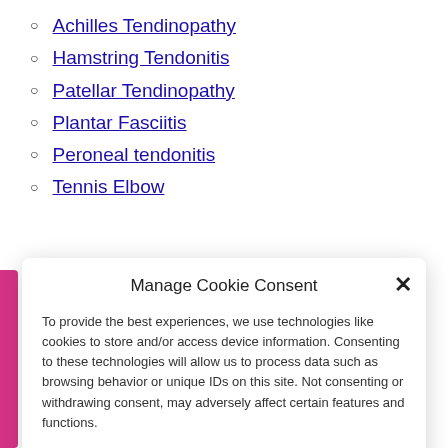Achilles Tendinopathy
Hamstring Tendonitis
Patellar Tendinopathy
Plantar Fasciitis
Peroneal tendonitis
Tennis Elbow
Manage Cookie Consent
To provide the best experiences, we use technologies like cookies to store and/or access device information. Consenting to these technologies will allow us to process data such as browsing behavior or unique IDs on this site. Not consenting or withdrawing consent, may adversely affect certain features and functions.
Accept
Deny
View preferences
Cookie Policy  Privacy Policy